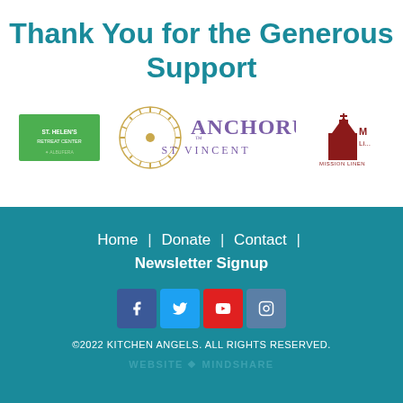Thank You for the Generous Support
[Figure (logo): Green rectangular logo (sponsor)]
[Figure (logo): Anchorum St Vincent logo with gold circular sun/wheel graphic and purple text]
[Figure (logo): Mission Linen red building logo]
Home | Donate | Contact | Newsletter Signup
[Figure (illustration): Social media icons: Facebook, Twitter, YouTube, Instagram]
©2022 KITCHEN ANGELS. ALL RIGHTS RESERVED.
WEBSITE MINDSHARE